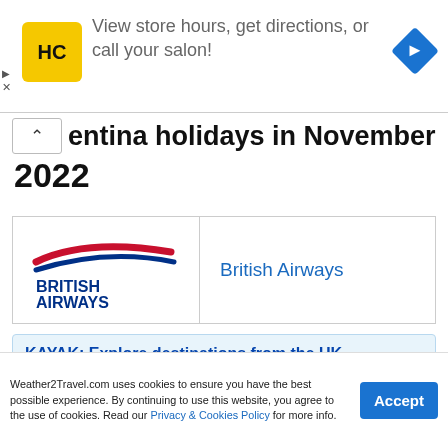[Figure (advertisement): HC (Haircuttery) salon ad banner: yellow square logo with HC text, navigation arrow diamond icon, text 'View store hours, get directions, or call your salon!']
Argentina holidays in November 2022
[Figure (logo): British Airways logo with red and blue swoosh marks and 'BRITISH AIRWAYS' text in blue, with 'British Airways' label in blue to the right]
[Figure (advertisement): KAYAK: Explore destinations from the UK - ad with orange bar and text 'Explore top offers on direct']
Weather2Travel.com uses cookies to ensure you have the best possible experience. By continuing to use this website, you agree to the use of cookies. Read our Privacy & Cookies Policy for more info.